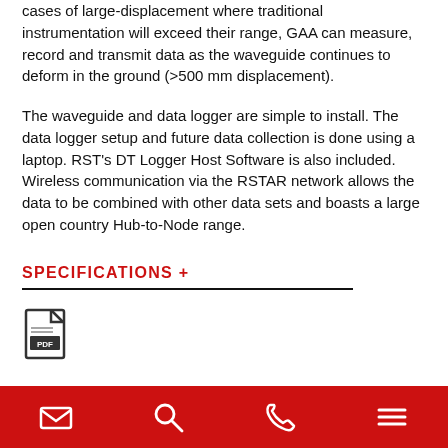cases of large-displacement where traditional instrumentation will exceed their range, GAA can measure, record and transmit data as the waveguide continues to deform in the ground (>500 mm displacement).
The waveguide and data logger are simple to install. The data logger setup and future data collection is done using a laptop. RST's DT Logger Host Software is also included. Wireless communication via the RSTAR network allows the data to be combined with other data sets and boasts a large open country Hub-to-Node range.
SPECIFICATIONS +
[Figure (other): PDF file icon]
Navigation bar with email, search, phone, and menu icons